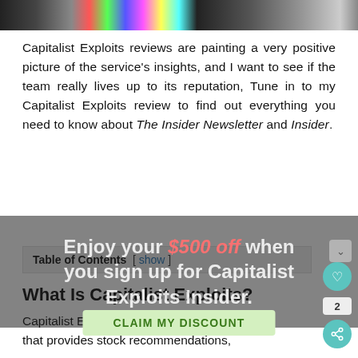[Figure (photo): Colorful image bar at the top of the page — multicolored abstract horizontal strip]
Capitalist Exploits reviews are painting a very positive picture of the service's insights, and I want to see if the team really lives up to its reputation, Tune in to my Capitalist Exploits review to find out everything you need to know about The Insider Newsletter and Insider.
| Table of Contents |
| --- |
| [ show ] |
What Is Capitalist Exploits?
Capitalist Exploits is an investment service that provides stock recommendations,